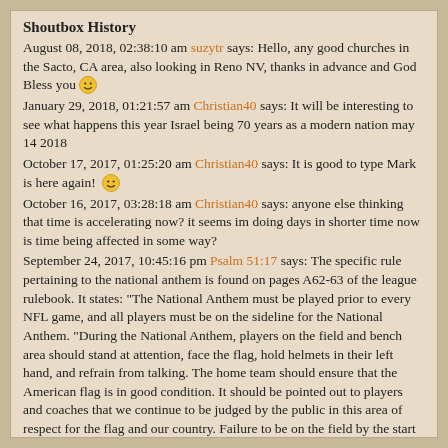Shoutbox History
August 08, 2018, 02:38:10 am suzytr says: Hello, any good churches in the Sacto, CA area, also looking in Reno NV, thanks in advance and God Bless you 🙂
January 29, 2018, 01:21:57 am Christian40 says: It will be interesting to see what happens this year Israel being 70 years as a modern nation may 14 2018
October 17, 2017, 01:25:20 am Christian40 says: It is good to type Mark is here again! 🙂
October 16, 2017, 03:28:18 am Christian40 says: anyone else thinking that time is accelerating now? it seems im doing days in shorter time now is time being affected in some way?
September 24, 2017, 10:45:16 pm Psalm 51:17 says: The specific rule pertaining to the national anthem is found on pages A62-63 of the league rulebook. It states: "The National Anthem must be played prior to every NFL game, and all players must be on the sideline for the National Anthem. "During the National Anthem, players on the field and bench area should stand at attention, face the flag, hold helmets in their left hand, and refrain from talking. The home team should ensure that the American flag is in good condition. It should be pointed out to players and coaches that we continue to be judged by the public in this area of respect for the flag and our country. Failure to be on the field by the start of the National Anthem may result in discipline, such as fines, suspensions, and/or the forfeiture of draft choice(s) for violations of the above, including first offenses."
September 20, 2017, 04:32:32 am Christian40 says: "The most popular Hepatitis B vaccine is nothing short of a witch's brew including aluminum, formaldehyde, yeast, amino acids, and soy